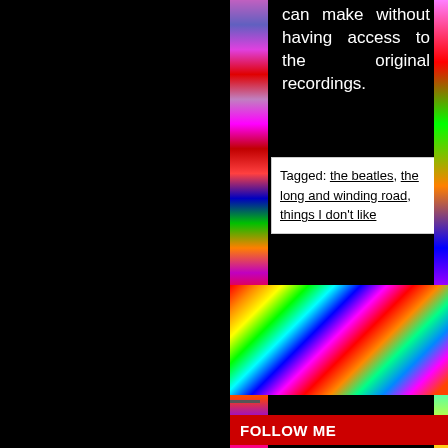can make without having access to the original recordings.
Tagged: the beatles, the long and winding road, things I don't like
[Figure (photo): Colorful mosaic/pixel art strip on left side]
[Figure (photo): Colorful mosaic/pixel art banner across bottom half]
FOLLOW ME
[Figure (photo): Row of thumbnail images below FOLLOW ME header]